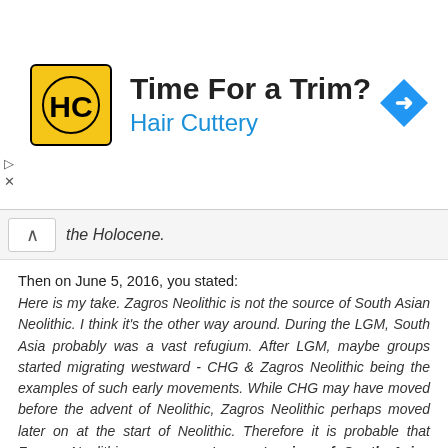[Figure (advertisement): Hair Cuttery advertisement banner with yellow HC logo, title 'Time For a Trim?', subtitle 'Hair Cuttery', and blue navigation arrow icon on the right.]
the Holocene.
Then on June 5, 2016, you stated:
Here is my take. Zagros Neolithic is not the source of South Asian Neolithic. I think it's the other way around. During the LGM, South Asia probably was a vast refugium. After LGM, maybe groups started migrating westward - CHG & Zagros Neolithic being the examples of such early movements. While CHG may have moved before the advent of Neolithic, Zagros Neolithic perhaps moved later on at the start of Neolithic. Therefore it is probable that Zagros Neolithic was a western extension of South Asian Neolithic...
Metspalu have never found a haplotype-diversity based argument for movement from East to West. If anything, the